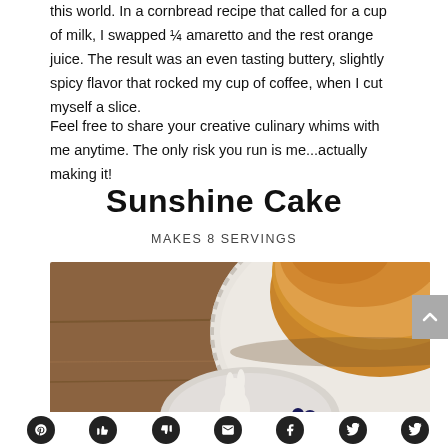this world. In a cornbread recipe that called for a cup of milk, I swapped ¼ amaretto and the rest orange juice. The result was an even tasting buttery, slightly spicy flavor that rocked my cup of coffee, when I cut myself a slice.
Feel free to share your creative culinary whims with me anytime. The only risk you run is me...actually making it!
Sunshine Cake
MAKES 8 SERVINGS
[Figure (photo): A golden round cake on a decorative white plate with scalloped edges, placed on a wooden surface. In the foreground is a smaller plate with berries and what appears to be a decorative rabbit figurine.]
Pinterest, thumbs up, thumbs down, envelope, Facebook, Twitter social share icons